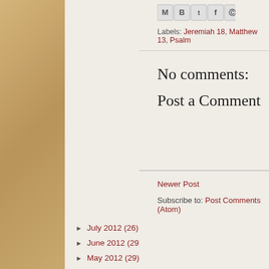Week in Ordinary Time ...
Tuesday of the Eighteenth Week in Ordinary Time (II)
Feast of the Transfiguration of the Lord (B)
Eighteenth Sunday in Ordinary Time (B)
Saturday of the Seventeenth Week in Ordinary Time ...
Friday of the Seventeenth Week in Ordinary Time (II)
Thursday of the Seventeenth Week in Ordinary Time ...
Wednesday of the Seventeenth Week in Ordinary Time...
► July 2012 (26)
► June 2012 (29)
► May 2012 (29)
► April 2012 (27)
► March 2012 (33)
► February 2012 (23)
► January 2012 (35)
[Figure (screenshot): Social share icons: Gmail, Blogger, Twitter, Facebook, Pinterest]
Labels: Jeremiah 18, Matthew 13, Psalm
No comments:
Post a Comment
Newer Post
Subscribe to: Post Comments (Atom)